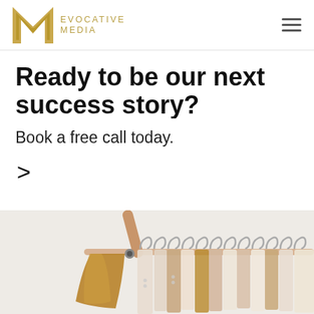Evocative Media
Ready to be our next success story?
Book a free call today.
>
[Figure (photo): A clothing rack with wooden hangers holding neutral-toned garments including mustard/tan pieces and cream/blush items, photographed against a light grey background.]